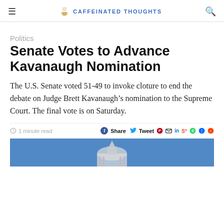CAFFEINATED THOUGHTS
Politics
Senate Votes to Advance Kavanaugh Nomination
The U.S. Senate voted 51-49 to invoke cloture to end the debate on Judge Brett Kavanaugh’s nomination to the Supreme Court. The final vote is on Saturday.
1 minute read  Share  Tweet
[Figure (photo): Photo of the U.S. Capitol building dome, partially visible, against a blue sky]